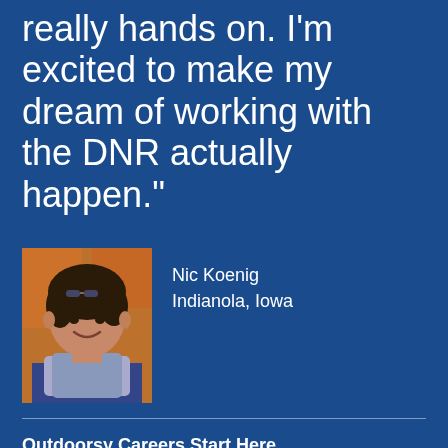really hands on. I'm excited to make my dream of working with the DNR actually happen."
[Figure (photo): Portrait photo of a young man with curly dark hair, smiling, wearing a blue and white striped shirt, outdoors with autumn foliage in background]
Nic Koenig
Indianola, Iowa
Outdoorsy Careers Start Here.
Our outdoor classrooms and programs feature the 675-acre Atherton Wetland Outdoor Learning Laboratory as well as the largest native prairie in Iowa